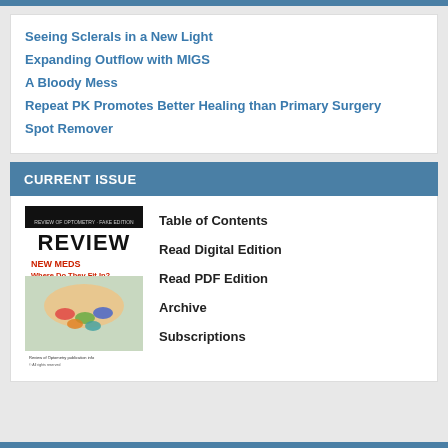Seeing Sclerals in a New Light
Expanding Outflow with MIGS
A Bloody Mess
Repeat PK Promotes Better Healing than Primary Surgery
Spot Remover
CURRENT ISSUE
[Figure (photo): Cover of Review magazine showing pills/medications with text 'NEW MEDS Where Do They Fit In?']
Table of Contents
Read Digital Edition
Read PDF Edition
Archive
Subscriptions